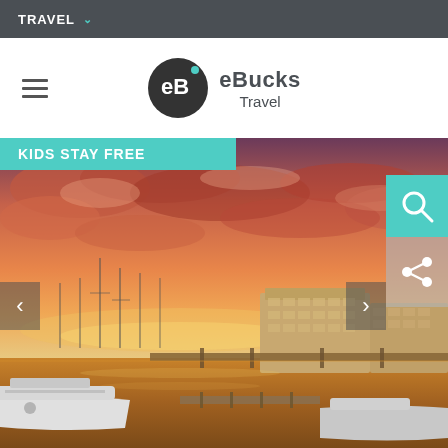TRAVEL
[Figure (logo): eBucks Travel logo with circular eB icon and text]
KIDS STAY FREE
[Figure (photo): Marina at sunset with yachts in foreground and multi-storey hotel buildings along waterfront under dramatic orange and pink cloudy sky]